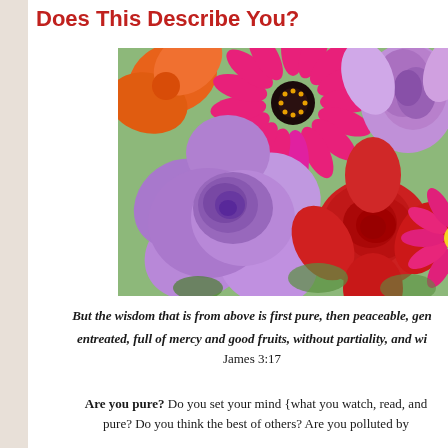Does This Describe You?
[Figure (photo): A colorful bouquet of flowers including a large purple rose in the foreground, a red rose, a pink/magenta gerbera daisy, orange flowers, and other colorful blooms.]
But the wisdom that is from above is first pure, then peaceable, gentle, and easy to be entreated, full of mercy and good fruits, without partiality, and wi... James 3:17
Are you pure? Do you set your mind {what you watch, read, and... pure? Do you think the best of others? Are you polluted by...